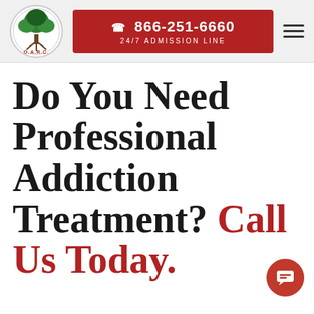[Figure (logo): O.A.R.C. logo: circular badge with a green tree and roots, text O.A.R.C. at bottom]
866-251-6660 24/7 ADMISSION LINE
[Figure (other): Hamburger menu icon (three horizontal lines)]
Do You Need Professional Addiction Treatment? Call Us Today.